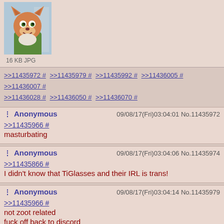[Figure (illustration): Cartoon fox character from Zootopia (Nick Wilde) smiling, with a green shirt]
16 KB JPG
>>11435972 # >>11435979 # >>11435992 # >>11436005 # >>11436007 # >>11436028 # >>11436050 # >>11436070 #
Anonymous 09/08/17(Fri)03:04:01 No.11435972
>>11435966 #
masturbating
Anonymous 09/08/17(Fri)03:04:06 No.11435974
>>11435866 #
I didn't know that TiGlasses and their IRL is trans!
Anonymous 09/08/17(Fri)03:04:14 No.11435979
>>11435966 #
not zoot related
fuck off back to discord
>>11436018 #